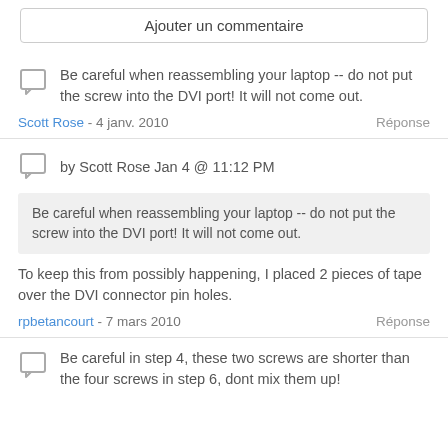Ajouter un commentaire
Be careful when reassembling your laptop -- do not put the screw into the DVI port! It will not come out.
Scott Rose - 4 janv. 2010    Réponse
by Scott Rose Jan 4 @ 11:12 PM
Be careful when reassembling your laptop -- do not put the screw into the DVI port! It will not come out.
To keep this from possibly happening, I placed 2 pieces of tape over the DVI connector pin holes.
rpbetancourt - 7 mars 2010    Réponse
Be careful in step 4, these two screws are shorter than the four screws in step 6, dont mix them up!